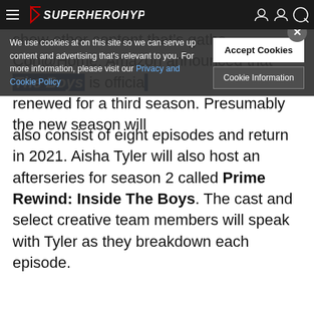SuperHeroHype
We use cookies at on this site so we can serve up content and advertising that's relevant to you. For more information, please visit our Privacy and Cookie Policy
Accept Cookies
Cookie Information
Con@Home: Amazon announced that The Boys is officially renewed for a third season. Presumably the new season will also consist of eight episodes and return in 2021. Aisha Tyler will also host an afterseries for season 2 called Prime Rewind: Inside The Boys. The cast and select creative team members will speak with Tyler as they breakdown each episode.